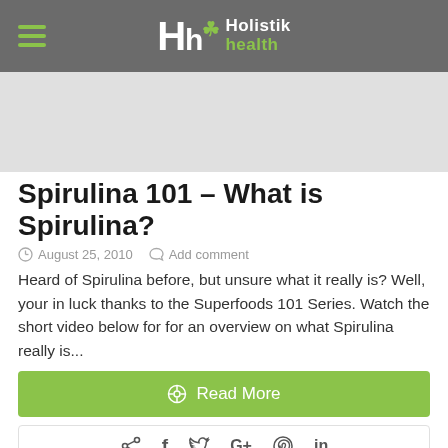Holistik health
[Figure (photo): Gray image placeholder / article header image]
Spirulina 101 – What is Spirulina?
August 25, 2010   Add comment
Heard of Spirulina before, but unsure what it really is? Well, your in luck thanks to the Superfoods 101 Series. Watch the short video below for for an overview on what Spirulina really is...
Read More
Social share icons: share, facebook, twitter, google+, pinterest, linkedin